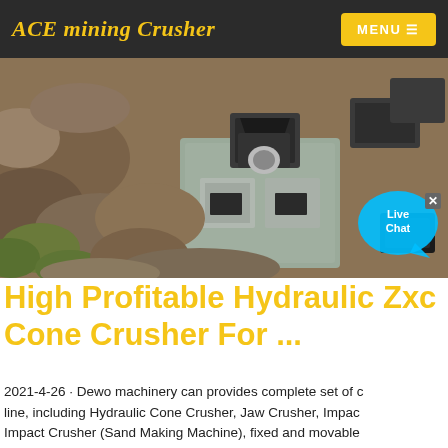ACE mining Crusher | MENU
[Figure (photo): Aerial/overhead view of mining crusher equipment installed on a rocky terrain with concrete structure blocks, showing industrial crushing machinery components]
High Profitable Hydraulic Zxc Cone Crusher For ...
2021-4-26 · Dewo machinery can provides complete set of crushing and screening line, including Hydraulic Cone Crusher, Jaw Crusher, Impact Crusher, Vertical Shaft Impact Crusher (Sand Making Machine), fixed and movable rock crushing line, but also provides turnkey project for cement production line,